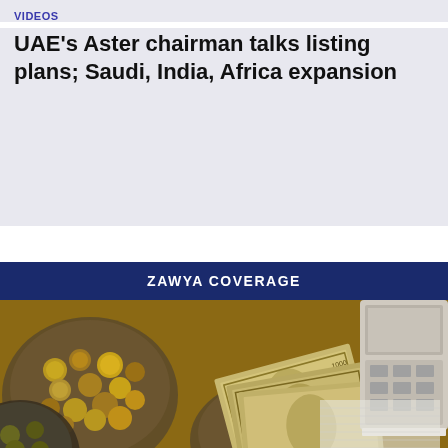VIDEOS
UAE's Aster chairman talks listing plans; Saudi, India, Africa expansion
ZAWYA COVERAGE
[Figure (photo): Overhead view of coins in plastic containers and paper currency banknotes (appearing to be Ethiopian birr) on a wooden surface with ledger papers and a calculator or cash machine in the background.]